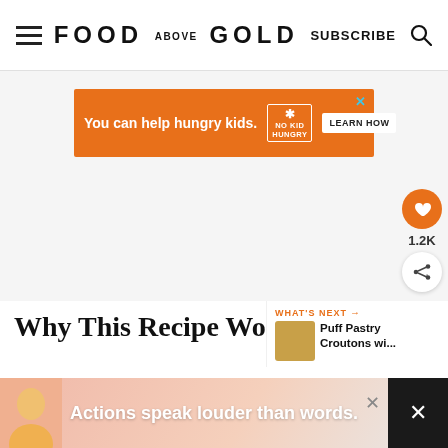FOOD ABOVE GOLD — SUBSCRIBE
[Figure (screenshot): Orange advertisement banner: 'You can help hungry kids. NO KID HUNGRY LEARN HOW' with close button]
[Figure (infographic): Social sidebar with orange heart button showing 1.2K likes and share button]
Why This Recipe Wo...
[Figure (infographic): WHAT'S NEXT panel with Puff Pastry Croutons wi... thumbnail]
St... in... or m of
[Figure (screenshot): Bottom advertisement banner: 'Actions speak louder than words.' with avatar and close buttons]